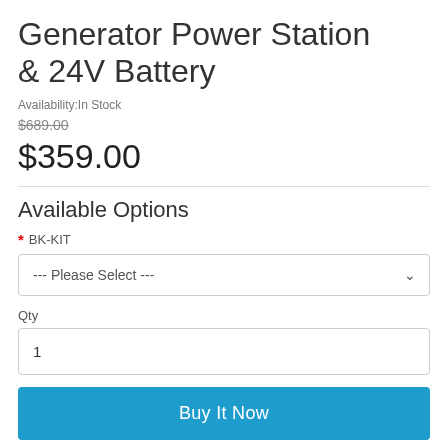Generator Power Station & 24V Battery
Availability:In Stock
$689.00
$359.00
Available Options
* BK-KIT
--- Please Select ---
Qty
1
Buy It Now